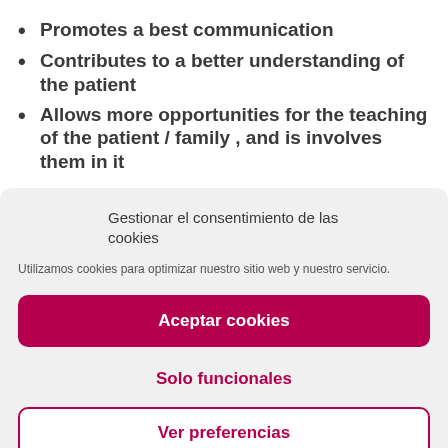Promotes a best communication
Contributes to a better understanding of the patient
Allows more opportunities for the teaching of the patient / family , and is involves them in it
Gestionar el consentimiento de las cookies
Utilizamos cookies para optimizar nuestro sitio web y nuestro servicio.
Aceptar cookies
Solo funcionales
Ver preferencias